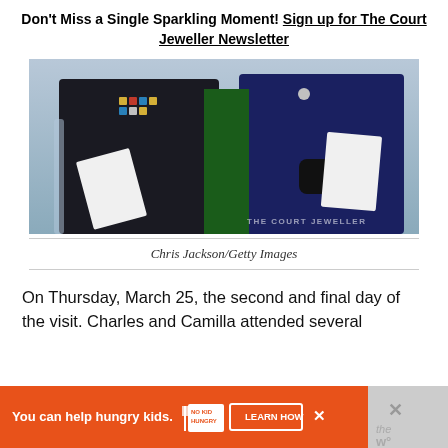Don't Miss a Single Sparkling Moment! Sign up for The Court Jeweller Newsletter
[Figure (photo): Photo of two people seated at a formal ceremony; person on left wearing dark suit with military medals holding papers; person on right wearing dark blue outfit with black gloves holding papers. Watermark reads THE COURT JEWELLER.]
Chris Jackson/Getty Images
On Thursday, March 25, the second and final day of the visit. Charles and Camilla attended several
[Figure (infographic): Advertisement banner: orange background. Text reads 'You can help hungry kids.' with No Kid Hungry logo and 'LEARN HOW' button. Overlapping close button (X) and a secondary overlay with X and logo watermark.]